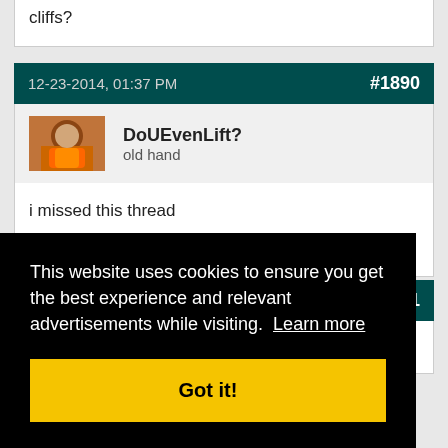cliffs?
12-23-2014, 01:37 PM
#1890
DoUEvenLift?
old hand
i missed this thread
#1891
also
This website uses cookies to ensure you get the best experience and relevant advertisements while visiting. Learn more
Got it!